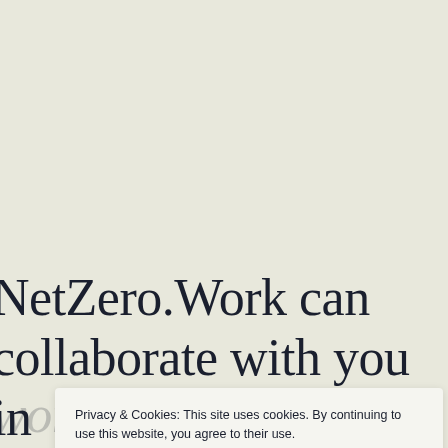NetZero.Work can collaborate with you in
working for sustainability, whatever your role.
Privacy & Cookies: This site uses cookies. By continuing to use this website, you agree to their use. To find out more, including how to control cookies, see here: Cookie Policy
Close and accept